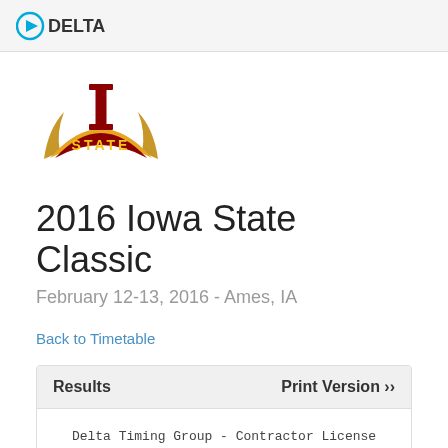DELTA
[Figure (logo): Iowa State Cyclones logo with red and gold I-STATE wordmark]
2016 Iowa State Classic
February 12-13, 2016 - Ames, IA
Back to Timetable
| Results | Print Version ›› |
| --- | --- |
| Delta Timing Group - Contractor License |  |